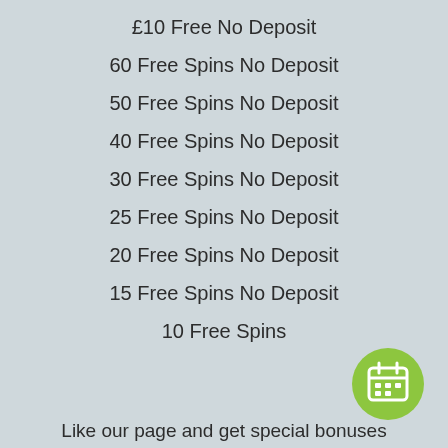£10 Free No Deposit
60 Free Spins No Deposit
50 Free Spins No Deposit
40 Free Spins No Deposit
30 Free Spins No Deposit
25 Free Spins No Deposit
20 Free Spins No Deposit
15 Free Spins No Deposit
10 Free Spins
[Figure (illustration): Green circular calendar icon button]
Like our page and get special bonuses